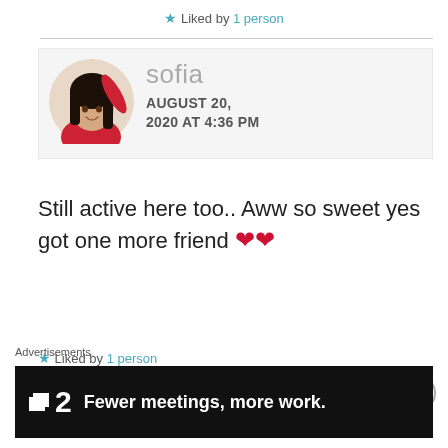★ Liked by 1 person
[Figure (photo): Profile photo of sofia in a circular avatar frame, wearing red top, dark hair]
sofia
AUGUST 20, 2020 AT 4:36 PM
Still active here too.. Aww so sweet yes got one more friend ❤❤
★ Liked by 1 person
[Figure (screenshot): Advertisement banner: Fewer meetings, more work. with logo showing a square icon and the number 2]